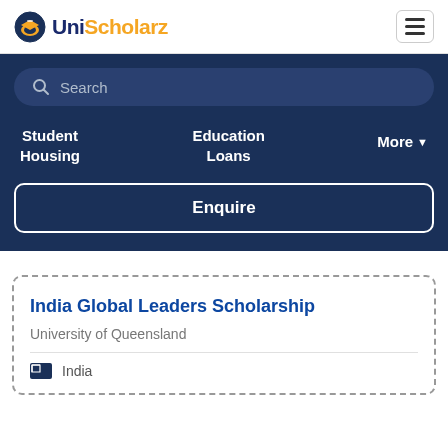UniScholarz
Search
Student Housing
Education Loans
More
Enquire
India Global Leaders Scholarship
University of Queensland
India